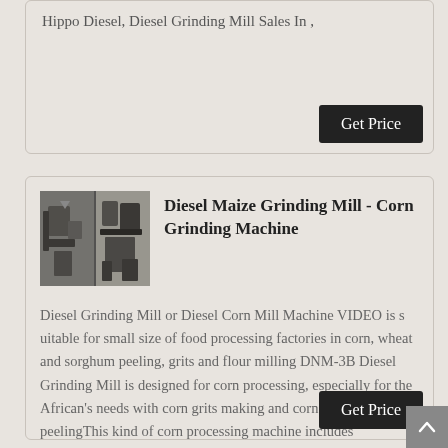Hippo Diesel, Diesel Grinding Mill Sales In ,
Get Price
[Figure (photo): Industrial diesel grinding mill / corn grinding machine equipment, two-panel photo showing machinery]
Diesel Maize Grinding Mill - Corn Grinding Machine
Diesel Grinding Mill or Diesel Corn Mill Machine VIDEO is s uitable for small size of food processing factories in corn, wheat and sorghum peeling, grits and flour milling DNM-3B Diesel Grinding Mill is designed for corn processing, especially for the African's needs with corn grits making and corn bran peelingThis kind of corn processing machine includes
Get Price